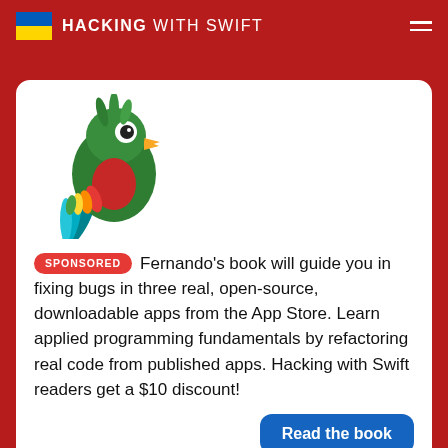HACKING WITH SWIFT
[Figure (illustration): Green cartoon bird (parrot) with red chest, yellow beak, blue/teal tail feathers — mascot logo]
SPONSORED Fernando's book will guide you in fixing bugs in three real, open-source, downloadable apps from the App Store. Learn applied programming fundamentals by refactoring real code from published apps. Hacking with Swift readers get a $10 discount!
Read the book